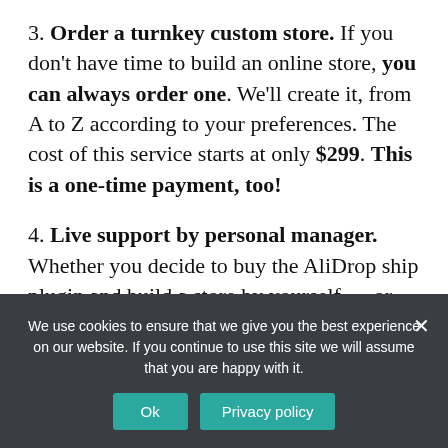3. Order a turnkey custom store. If you don't have time to build an online store, you can always order one. We'll create it, from A to Z according to your preferences. The cost of this service starts at only $299. This is a one-time payment, too!
4. Live support by personal manager. Whether you decide to buy the AliDrop ship plugin and build a store by yourself … or order a custom store, we provide FREE lifelong support and plugin updates. A dedicated manager will answer all of
We use cookies to ensure that we give you the best experience on our website. If you continue to use this site we will assume that you are happy with it.